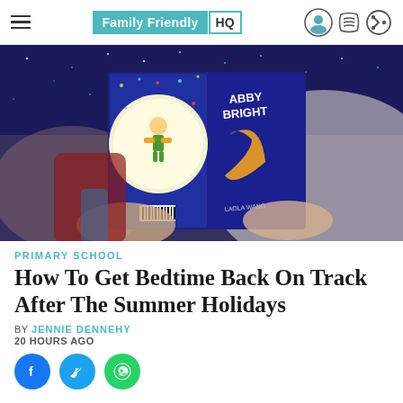Family Friendly HQ
[Figure (photo): Person in bed holding open a children's book titled 'Abby Bright' with a colorful space-themed cover featuring a child character on a dark blue background with stars]
PRIMARY SCHOOL
How To Get Bedtime Back On Track After The Summer Holidays
BY JENNIE DENNEHY
20 HOURS AGO